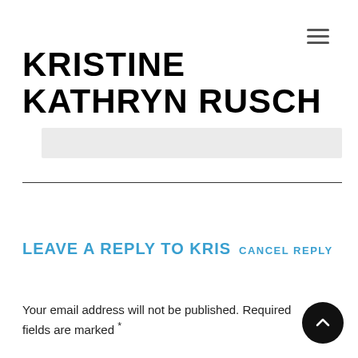≡
KRISTINE KATHRYN RUSCH
LEAVE A REPLY TO KRIS CANCEL REPLY
Your email address will not be published. Required fields are marked *